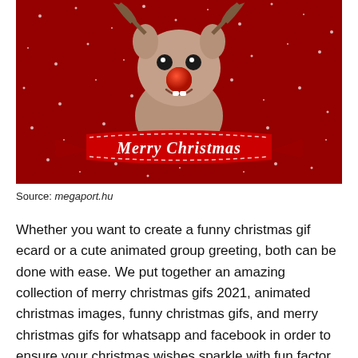[Figure (illustration): A cartoon reindeer with a red nose on a red snowy background, with a ribbon banner reading 'Merry Christmas' in white text.]
Source: megaport.hu
Whether you want to create a funny christmas gif ecard or a cute animated group greeting, both can be done with ease. We put together an amazing collection of merry christmas gifs 2021, animated christmas images, funny christmas gifs, and merry christmas gifs for whatsapp and facebook in order to ensure your christmas wishes sparkle with fun factor, glitter, and emotions.